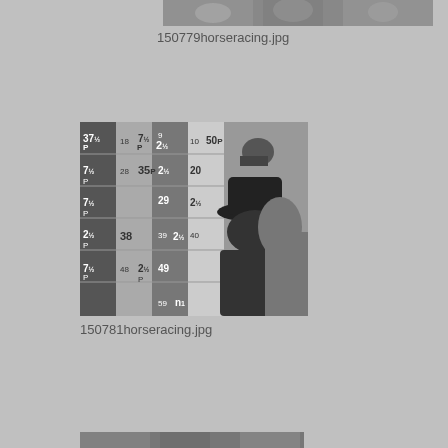[Figure (photo): Black and white photo of horse racing event, partially visible at top of page]
150779horseracing.jpg
[Figure (photo): Black and white photo of people at a horse racing betting board. A man in a hat stands in front of a large board showing odds and numbers including 37½p, 7½p, 2½p, 35p, 38, 2½p, 2½p, 49, 59, and various other numbers. The board features alternating grey and white sections.]
150781horseracing.jpg
[Figure (photo): Black and white photo partially visible at bottom of page, horse racing related]